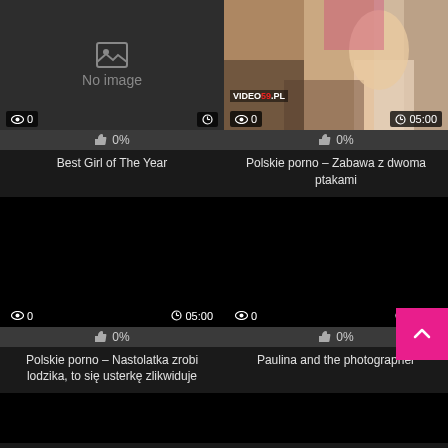[Figure (screenshot): Video thumbnail - No image placeholder]
0
0%
Best Girl of The Year
[Figure (photo): Video thumbnail - photo of people]
0  05:00
0%
Polskie porno – Zabawa z dwoma ptakami
[Figure (screenshot): Video thumbnail - black screen]
0  05:00
0%
Polskie porno – Nastolatka zrobi lodzika, to się usterkę zlikwiduje
[Figure (screenshot): Video thumbnail - black screen]
0  36:00
0%
Paulina and the photographer
[Figure (screenshot): Video thumbnail - black screen (bottom left)]
[Figure (screenshot): Video thumbnail - black screen (bottom right)]